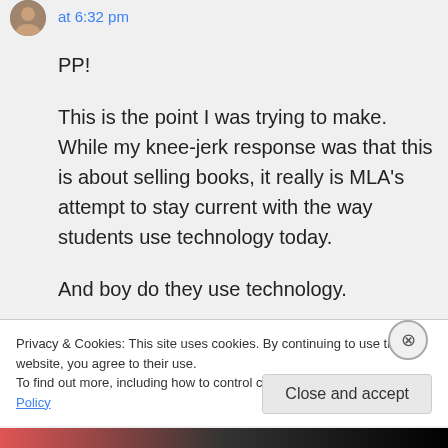at 6:32 pm
PP!

This is the point I was trying to make. While my knee-jerk response was that this is about selling books, it really is MLA's attempt to stay current with the way students use technology today.

And boy do they use technology.
Privacy & Cookies: This site uses cookies. By continuing to use this website, you agree to their use.
To find out more, including how to control cookies, see here: Cookie Policy
Close and accept